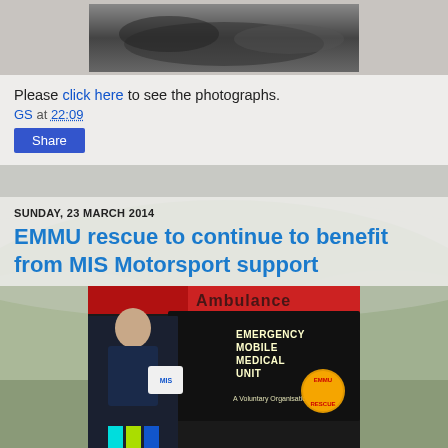[Figure (photo): Black and white landscape or terrain photo at top of page]
Please click here to see the photographs.
GS at 22:09
Share
SUNDAY, 23 MARCH 2014
EMMU rescue to continue to benefit from MIS Motorsport support
[Figure (photo): Photo of a person in dark uniform holding a white MIS-branded box in front of a black Emergency Mobile Medical Unit vehicle with EMMU Rescue logo]